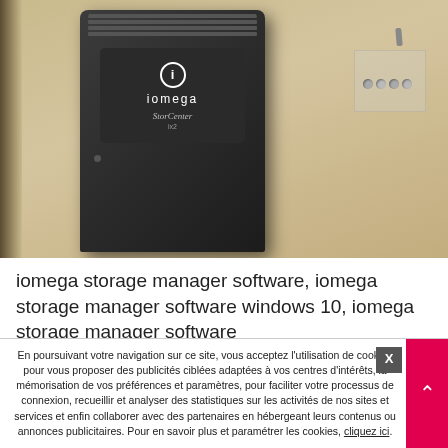[Figure (photo): Photo of an Iomega StorCenter ix2 NAS device, a black rectangular unit with ventilation slits on top and an Iomega logo label on the front, placed on a light-colored surface next to a small clear plastic box containing hardware components.]
iomega storage manager software, iomega storage manager software windows 10, iomega storage manager software
En poursuivant votre navigation sur ce site, vous acceptez l’utilisation de cookies pour vous proposer des publicités ciblées adaptées à vos centres d’intérêts, la mémorisation de vos préférences et paramètres, pour faciliter votre processus de connexion, recueillir et analyser des statistiques sur les activités de nos sites et services et enfin collaborer avec des partenaires en hébergeant leurs contenus ou annonces publicitaires. Pour en savoir plus et paramétrer les cookies, cliquez ici.